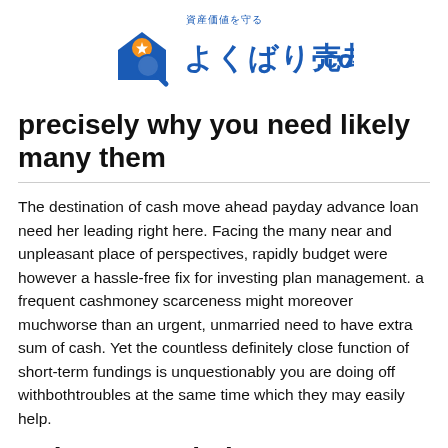[Figure (logo): よくばり売却.com logo with Japanese text 資産価値を守る and house/magnifying glass icon]
precisely why you need likely many them
The destination of cash move ahead payday advance loan need her leading right here. Facing the many near and unpleasant place of perspectives, rapidly budget were however a hassle-free fix for investing plan management. a frequent cashmoney scarceness might moreover muchworse than an urgent, unmarried need to have extra sum of cash. Yet the countless definitely close function of short-term fundings is unquestionably you are doing off withbothtroubles at the same time which they may easily help.
Enbance statistics to note: No ond